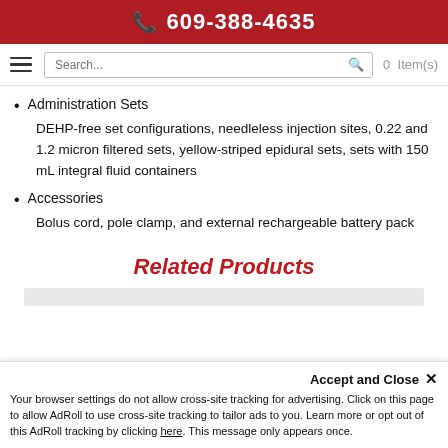609-388-4635
Administration Sets
DEHP-free set configurations, needleless injection sites, 0.22 and 1.2 micron filtered sets, yellow-striped epidural sets, sets with 150 mL integral fluid containers
Accessories
Bolus cord, pole clamp, and external rechargeable battery pack
Related Products
Your browser settings do not allow cross-site tracking for advertising. Click on this page to allow AdRoll to use cross-site tracking to tailor ads to you. Learn more or opt out of this AdRoll tracking by clicking here. This message only appears once.